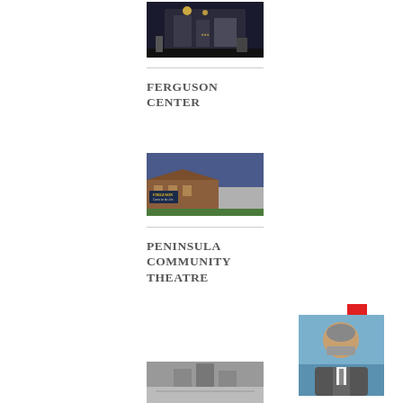[Figure (photo): Night-time exterior photo of a building with illuminated signage and parked cars]
FERGUSON CENTER
[Figure (photo): Exterior photo of Ferguson Center for the Arts at dusk, brick building with signage]
PENINSULA COMMUNITY THEATRE
[Figure (photo): Portrait of a middle-aged man with gray beard wearing a suit jacket, blue background]
[Figure (photo): Exterior photo of Peninsula Community Theatre building]